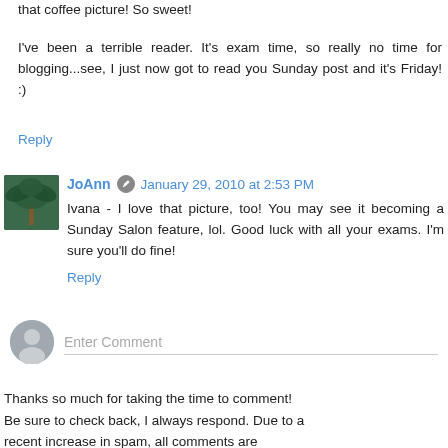You're doing great with your reading. And I absolutely adore that coffee picture! So sweet!
I've been a terrible reader. It's exam time, so really no time for blogging...see, I just now got to read you Sunday post and it's Friday! :)
Reply
JoAnn  January 29, 2010 at 2:53 PM
Ivana - I love that picture, too! You may see it becoming a Sunday Salon feature, lol. Good luck with all your exams. I'm sure you'll do fine!
Reply
Enter Comment
Thanks so much for taking the time to comment!
Be sure to check back, I always respond. Due to a recent increase in spam, all comments are